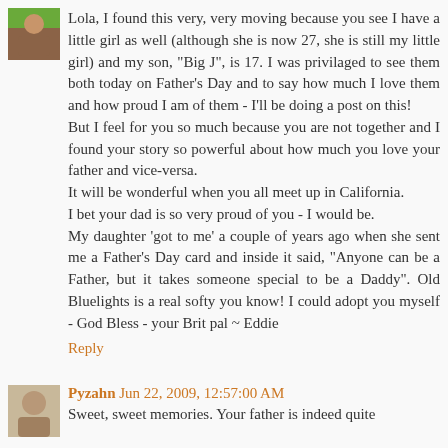Lola, I found this very, very moving because you see I have a little girl as well (although she is now 27, she is still my little girl) and my son, "Big J", is 17. I was privilaged to see them both today on Father's Day and to say how much I love them and how proud I am of them - I'll be doing a post on this!
But I feel for you so much because you are not together and I found your story so powerful about how much you love your father and vice-versa.
It will be wonderful when you all meet up in California.
I bet your dad is so very proud of you - I would be.
My daughter 'got to me' a couple of years ago when she sent me a Father's Day card and inside it said, "Anyone can be a Father, but it takes someone special to be a Daddy". Old Bluelights is a real softy you know! I could adopt you myself - God Bless - your Brit pal ~ Eddie
Reply
Pyzahn  Jun 22, 2009, 12:57:00 AM
Sweet, sweet memories. Your father is indeed quite